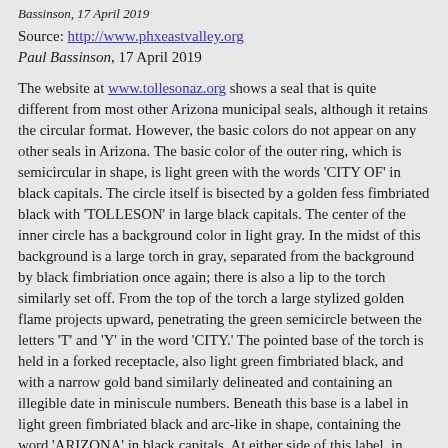Bassinson, 17 April 2019
Source: http://www.phxeastvalley.org
Paul Bassinson, 17 April 2019
The website at www.tollesonaz.org shows a seal that is quite different from most other Arizona municipal seals, although it retains the circular format. However, the basic colors do not appear on any other seals in Arizona. The basic color of the outer ring, which is semicircular in shape, is light green with the words 'CITY OF' in black capitals. The circle itself is bisected by a golden fess fimbriated black with 'TOLLESON' in large black capitals. The center of the inner circle has a background color in light gray. In the midst of this background is a large torch in gray, separated from the background by black fimbriation once again; there is also a lip to the torch similarly set off. From the top of the torch a large stylized golden flame projects upward, penetrating the green semicircle between the letters 'T' and 'Y' in the word 'CITY.' The pointed base of the torch is held in a forked receptacle, also light green fimbriated black, and with a narrow gold band similarly delineated and containing an illegible date in miniscule numbers. Beneath this base is a label in light green fimbriated black and arc-like in shape, containing the word 'ARIZONA' in black capitals. At either side of this label, in black and green, are four cactus flowers, two a side.
Ron Lahav, 13 May 2004